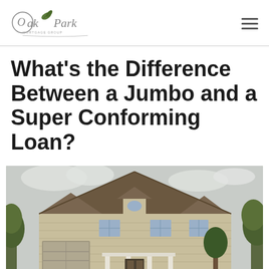Oak Park Mortgage Group
What's the Difference Between a Jumbo and a Super Conforming Loan?
[Figure (photo): Large two-story tan/beige suburban house with dark brown roof, white trim, front porch with white columns, garage on left, trees and cloudy sky in background]